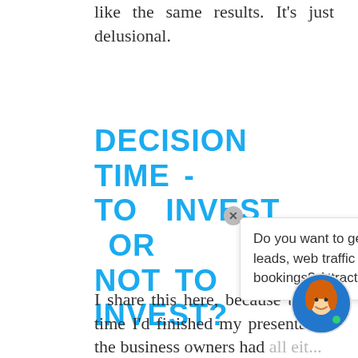like the same results. It's just delusional.
DECISION TIME - TO INVEST OR NOT TO INVEST?
I share this here, because by the time I'd finished my presentation the business owners had all either board their fully appre either invest in social media
[Figure (other): Chat popup with avatar. Popup text: 'Do you want to generate leads, web traffic or event bookings? Attract...' with a close button and a cartoon avatar of a woman with red/orange hair.]